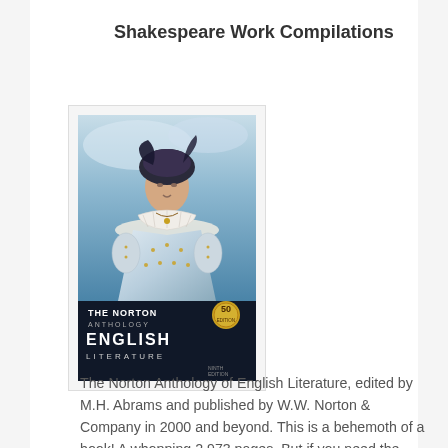Shakespeare Work Compilations
[Figure (photo): Book cover of The Norton Anthology of English Literature, featuring a portrait of a woman in Elizabethan dress on a blue background, with the book title at the bottom and a 50th edition badge.]
The Norton Anthology of English Literature, edited by M.H. Abrams and published by W.W. Norton & Company in 2000 and beyond. This is a behemoth of a book! A whopping 2,973 pages. But if you need the original text of Shakespeare's